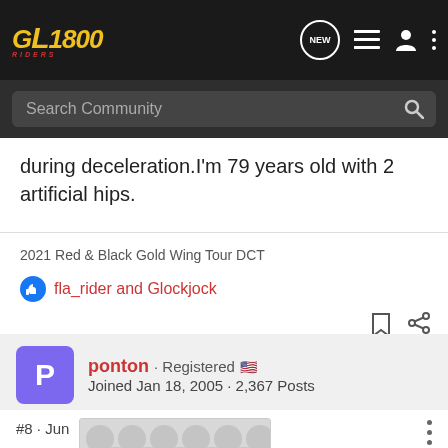GL1800 Riders — Navigation bar with search
during deceleration.I'm 79 years old with 2 artificial hips.
2021 Red & Black Gold Wing Tour DCT
fla_rider and Glockjock
ponton · Registered
Joined Jan 18, 2005 · 2,367 Posts
#8 · Jun